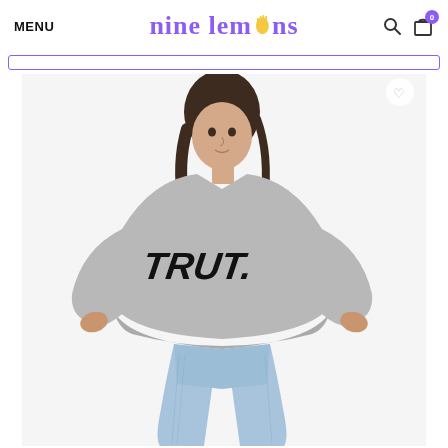MENU | nine lemons | search | cart 0
[Figure (photo): Screenshot of Nine Lemons e-commerce website showing a woman wearing a grey sweatshirt with 'TRUT.' printed in bold black letters on the chest, paired with light blue jeans, posing against a white background. The website header shows 'MENU' on the left, the 'nine lemons' logo in purple in the center, and search and cart icons on the right.]